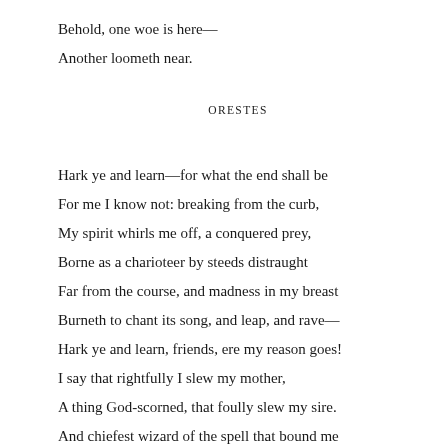Behold, one woe is here—
Another loometh near.
ORESTES
Hark ye and learn—for what the end shall be
For me I know not: breaking from the curb,
My spirit whirls me off, a conquered prey,
Borne as a charioteer by steeds distraught
Far from the course, and madness in my breast
Burneth to chant its song, and leap, and rave—
Hark ye and learn, friends, ere my reason goes!
I say that rightfully I slew my mother,
A thing God-scorned, that foully slew my sire.
And chiefest wizard of the spell that bound me